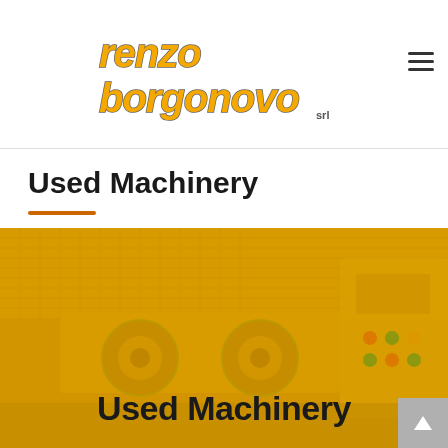renzo borgonovo srl
Used Machinery
[Figure (photo): Industrial machinery (used metalworking/wire machinery) shown with a golden/amber color overlay. Text 'Used Machinery' overlaid at the bottom of the image.]